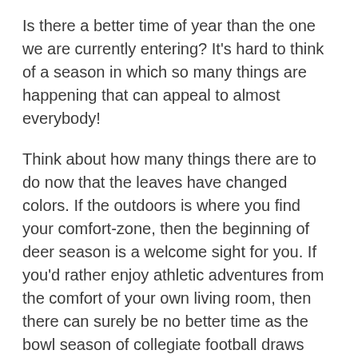Is there a better time of year than the one we are currently entering? It's hard to think of a season in which so many things are happening that can appeal to almost everybody!
Think about how many things there are to do now that the leaves have changed colors. If the outdoors is where you find your comfort-zone, then the beginning of deer season is a welcome sight for you. If you'd rather enjoy athletic adventures from the comfort of your own living room, then there can surely be no better time as the bowl season of collegiate football draws near. Some folks find little appeal in hunting or sports, but anticipate this time of year for the family gatherings and other social occasions this time of year seems to invite. You certainly can't talk about this time of year without discussing food! Food! It's truly a remarkable time to have an appetite, isn't it? And, lastly, others look forward to these days because